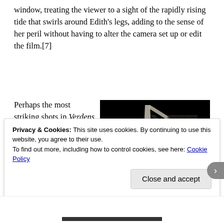window, treating the viewer to a sight of the rapidly rising tide that swirls around Edith's legs, adding to the sense of her peril without having to alter the camera set up or edit the film.[7]
Perhaps the most striking shots in Verdens undergang come when Stoll scouts out a hiding place in the mine, and later when, pursued by Flint, he tries to bear the injured
[Figure (photo): Black and white still from the film Verdens undergang showing what appears to be a figure or structural element against a dark background, possibly inside a mine.]
Privacy & Cookies: This site uses cookies. By continuing to use this website, you agree to their use.
To find out more, including how to control cookies, see here: Cookie Policy